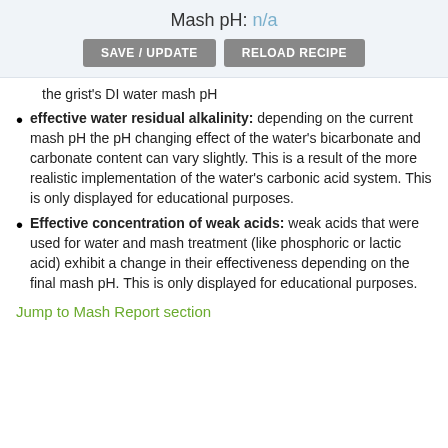Mash pH: n/a
the grist's DI water mash pH
effective water residual alkalinity: depending on the current mash pH the pH changing effect of the water's bicarbonate and carbonate content can vary slightly. This is a result of the more realistic implementation of the water's carbonic acid system. This is only displayed for educational purposes.
Effective concentration of weak acids: weak acids that were used for water and mash treatment (like phosphoric or lactic acid) exhibit a change in their effectiveness depending on the final mash pH. This is only displayed for educational purposes.
Jump to Mash Report section